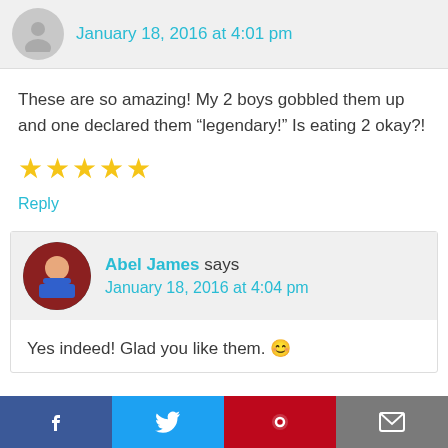January 18, 2016 at 4:01 pm
These are so amazing! My 2 boys gobbled them up and one declared them “legendary!” Is eating 2 okay?!
[Figure (other): Five gold star rating icons]
Reply
Abel James says
January 18, 2016 at 4:04 pm
Yes indeed! Glad you like them. 😊
[Figure (other): Social share bar with Facebook, Twitter, Pinterest, and Email buttons]